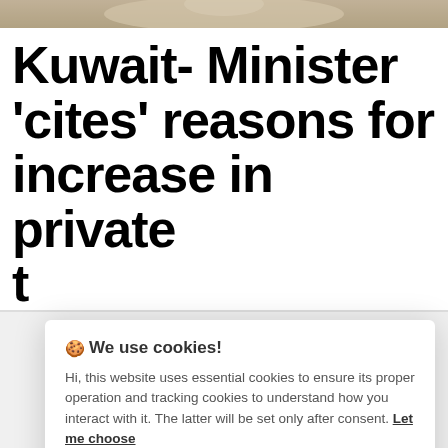[Figure (photo): Partial photo strip at top of page showing a person in white clothing]
Kuwait- Minister 'cites' reasons for increase in private t
🍪 We use cookies!
Hi, this website uses essential cookies to ensure its proper operation and tracking cookies to understand how you interact with it. The latter will be set only after consent. Let me choose
Accept all
Reject all